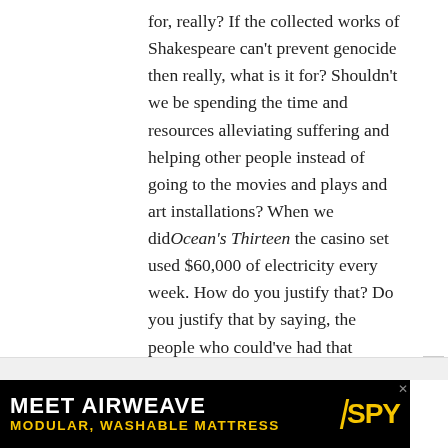for, really? If the collected works of Shakespeare can't prevent genocide then really, what is it for? Shouldn't we be spending the time and resources alleviating suffering and helping other people instead of going to the movies and plays and art installations? When we did Ocean's Thirteen the casino set used $60,000 of electricity every week. How do you justify that? Do you justify that by saying, the people who could've had that electricity are going to watch the movie for two hours and be entertained – except they probably can't, because they don't have any electricity, because we used it. Then I think, what about all the resources spent on all the pieces of entertainment? What about the carbon footprint of getting me here? Then I think, why are you even
[Figure (other): Advertisement banner for AIRWEAVE 'MODULAR, WASHABLE MATTRESS' on black background with SPY logo in yellow]